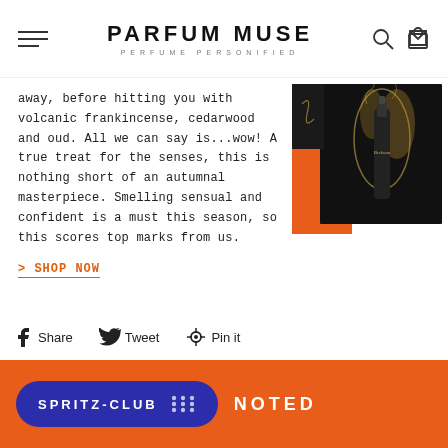PARFUM MUSE — PERFUME PERSONIFIED
away, before hitting you with volcanic frankincense, cedarwood and oud. All we can say is...wow! A true treat for the senses, this is nothing short of an autumnal masterpiece. Smelling sensual and confident is a must this season, so this scores top marks from us.
> SHOP NOW
[Figure (photo): Product image of a luxury perfume bottle against dark background with orange accent, gold smoke]
Share  Tweet  Pin it
[Figure (infographic): Orange banner with SPRITZ-CLUB pill button in navy blue and NOTED text]